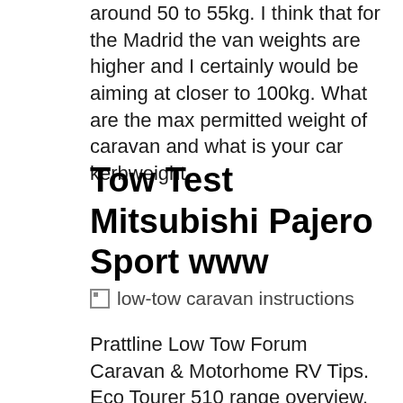around 50 to 55kg. I think that for the Madrid the van weights are higher and I certainly would be aiming at closer to 100kg. What are the max permitted weight of caravan and what is your car kerbweight.
Tow Test Mitsubishi Pajero Sport www
[Figure (photo): Broken image placeholder labeled 'low-tow caravan instructions']
Prattline Low Tow Forum Caravan & Motorhome RV Tips. Eco Tourer 510 range overview. Features garage storage with folding drawbar, Aerodynamic towing, luxurious fitout, quick setup, spacious interior and